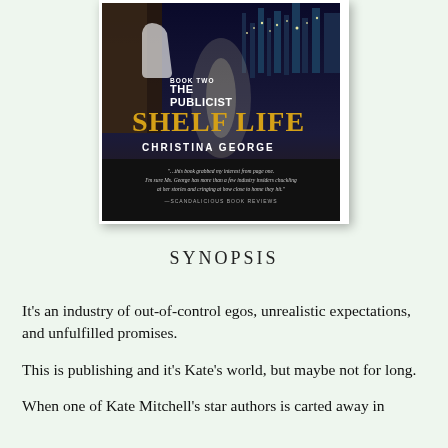[Figure (illustration): Book cover for 'The Publicist: Shelf Life, Book Two' by Christina George. Dark background with city lights and a woman figure. Title text in large gold letters reads SHELF LIFE. Subtitle text BOOK TWO THE PUBLICIST in white. Author name CHRISTINA GEORGE in white. A quote at the bottom from Scandalicious Book Reviews.]
SYNOPSIS
It's an industry of out-of-control egos, unrealistic expectations, and unfulfilled promises.
This is publishing and it's Kate's world, but maybe not for long.
When one of Kate Mitchell's star authors is carted away in